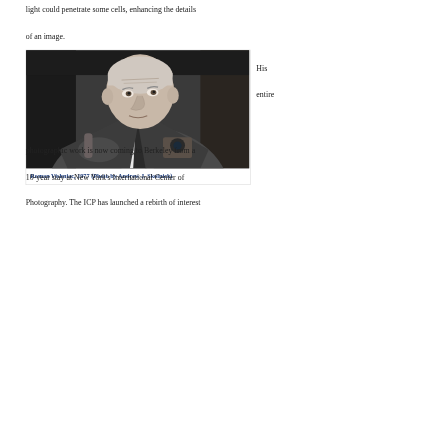light could penetrate some cells, enhancing the details of an image.
[Figure (photo): Black and white photograph of Roman Vishniac, an elderly man in a suit and tie, seated and holding a camera, looking slightly to the right with a gentle expression.]
Roman Vishniac, 1977 (Photo by Andrew J. Skolnick)
His entire
photographic work is now coming to Berkeley from a 10-year stay at New York's International Center of Photography. The ICP has launched a rebirth of interest